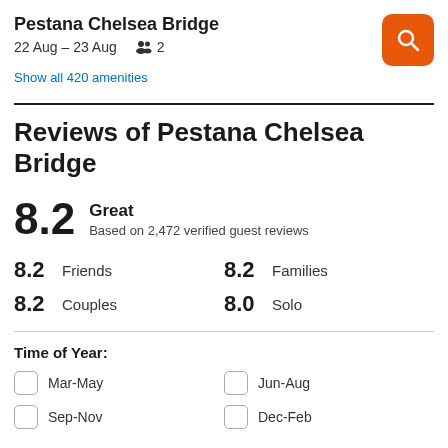Pestana Chelsea Bridge
22 Aug – 23 Aug  2
Show all 420 amenities
Reviews of Pestana Chelsea Bridge
8.2 Great
Based on 2,472 verified guest reviews
8.2 Friends
8.2 Couples
8.2 Families
8.0 Solo
Time of Year:
Mar-May
Jun-Aug
Sep-Nov
Dec-Feb